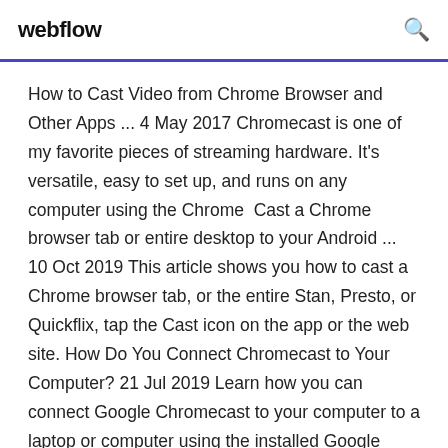webflow
How to Cast Video from Chrome Browser and Other Apps ... 4 May 2017 Chromecast is one of my favorite pieces of streaming hardware. It's versatile, easy to set up, and runs on any computer using the Chrome  Cast a Chrome browser tab or entire desktop to your Android ... 10 Oct 2019 This article shows you how to cast a Chrome browser tab, or the entire Stan, Presto, or Quickflix, tap the Cast icon on the app or the web site. How Do You Connect Chromecast to Your Computer? 21 Jul 2019 Learn how you can connect Google Chromecast to your computer to a laptop or computer using the installed Google Chrome